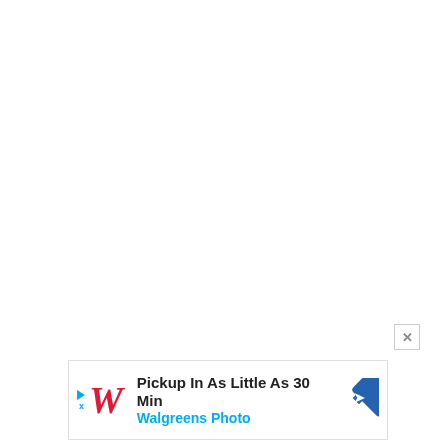[Figure (other): Close/dismiss button (X) in a small square, positioned above the advertisement banner]
[Figure (infographic): Walgreens Photo advertisement banner: 'Pickup In As Little As 30 Min / Walgreens Photo' with Walgreens cursive W logo in red, a blue play/ad icon on the left, and a blue diamond navigation arrow icon on the right]